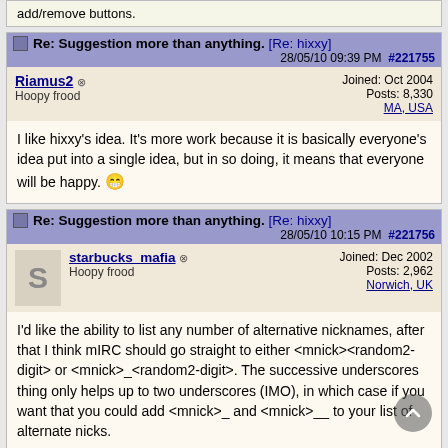add/remove buttons.
Re: Suggestion more than anything. [Re: hixxy] 28/05/10 09:39 PM #221755
Riamus2 Hoopy frood | Joined: Oct 2004 Posts: 8,330 MA, USA
I like hixxy's idea. It's more work because it is basically everyone's idea put into a single idea, but in so doing, it means that everyone will be happy. 😁
Re: Suggestion more than anything. [Re: hixxy] 28/05/10 10:15 PM #221756
starbucks_mafia Hoopy frood | Joined: Dec 2002 Posts: 2,962 Norwich, UK
I'd like the ability to list any number of alternative nicknames, after that I think mIRC should go straight to either <mnick><random2-digit> or <mnick>_<random2-digit>. The successive underscores thing only helps up to two underscores (IMO), in which case if you want that you could add <mnick>_ and <mnick>__ to your list of alternate nicks.